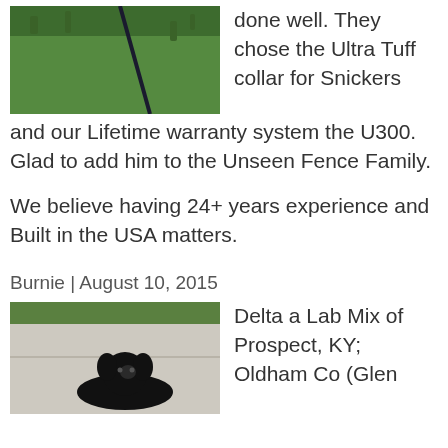[Figure (photo): Dog on grass with a leash visible, outdoor setting with green grass background]
done well. They chose the Ultra Tuff collar for Snickers and our Lifetime warranty system the U300. Glad to add him to the Unseen Fence Family.
We believe having 24+ years experience and Built in the USA matters.
Burnie | August 10, 2015
[Figure (photo): Black Lab mix dog (Delta) sitting on pavement near grass, Prospect KY]
Delta a Lab Mix of Prospect, KY; Oldham Co (Glen